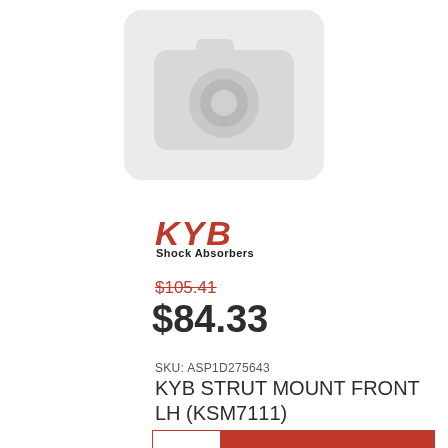[Figure (photo): Placeholder camera icon image in light grey rounded rectangle]
[Figure (logo): KYB Shock Absorbers brand logo in red italic bold lettering with 'Shock Absorbers' subtitle]
$105.41 (strikethrough, original price)
$84.33 (current price)
SKU: ASP1D275643
KYB STRUT MOUNT FRONT LH (KSM7111)
1  Add to Cart